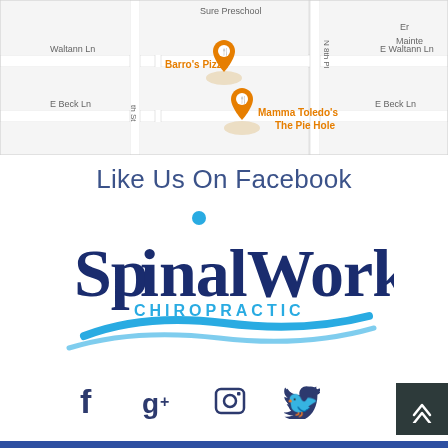[Figure (map): Google Maps screenshot showing street map with pins for Barro's Pizza and Mamma Toledo's The Pie Hole, with streets including Waltann Ln, E Beck Ln, N 8th Pl]
Like Us On Facebook
[Figure (logo): SpinalWorks Chiropractic logo with blue swoosh design, dark blue text 'SpinalWorks' with cyan dot above the i, and 'CHIROPRACTIC' in cyan below]
[Figure (infographic): Social media icons: Facebook (f), Google+ (g+), Instagram (camera), Twitter (bird)]